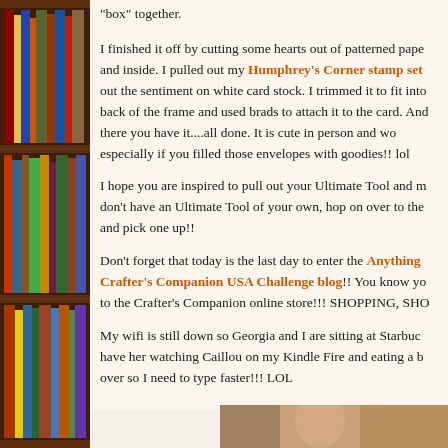[Figure (photo): Bookshelf with colorful books on the left side of the page]
"box" together.
I finished it off by cutting some hearts out of patterned paper and inside. I pulled out my Humphrey's Corner stamp set out the sentiment on white card stock. I trimmed it to fit into back of the frame and used brads to attach it to the card. And there you have it....all done. It is cute in person and wo especially if you filled those envelopes with goodies!! lol
I hope you are inspired to pull out your Ultimate Tool and m don't have an Ultimate Tool of your own, hop on over to the and pick one up!!
Don't forget that today is the last day to enter the Anything Crafter's Companion USA Challenge blog!! You know yo to the Crafter's Companion online store!!! SHOPPING, SHO
My wifi is still down so Georgia and I are sitting at Starbuc have her watching Caillou on my Kindle Fire and eating a b over so I need to type faster!!! LOL
[Figure (photo): Partial photo visible at bottom right corner of page]